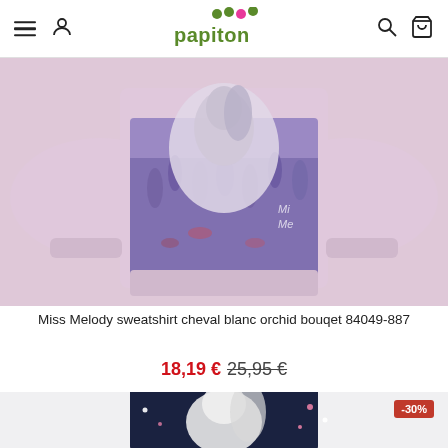papiton — navigation header with hamburger menu, user icon, logo, search icon, cart icon
[Figure (photo): Miss Melody sweatshirt cheval blanc orchid bouquet 84049-887 — pink sweatshirt with white horse and purple flower print]
Miss Melody sweatshirt cheval blanc orchid bouqet 84049-887
18,19 € 25,95 €
[Figure (photo): Dark navy blue sweatshirt with white horse print and stars, partially visible, with -30% discount badge]